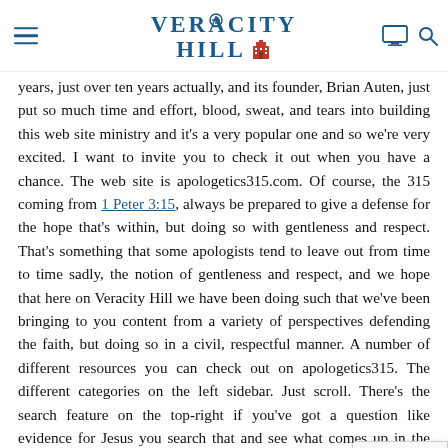VERACITY HILL
years, just over ten years actually, and its founder, Brian Auten, just put so much time and effort, blood, sweat, and tears into building this web site ministry and it's a very popular one and so we're very excited. I want to invite you to check it out when you have a chance. The web site is apologetics315.com. Of course, the 315 coming from 1 Peter 3:15, always be prepared to give a defense for the hope that's within, but doing so with gentleness and respect. That's something that some apologists tend to leave out from time to time sadly, the notion of gentleness and respect, and we hope that here on Veracity Hill we have been doing such that we've been bringing to you content from a variety of perspectives defending the faith, but doing so in a civil, respectful manner. A number of different resources you can check out on apologetics315. The different categories on the left sidebar. Just scroll. There's the search feature on the top-right if you've got a question like evidence for Jesus you search that and see what comes up in the search results, material. I'm talking thousands of different articles and resources for you, literally thousands, and so the Defenders